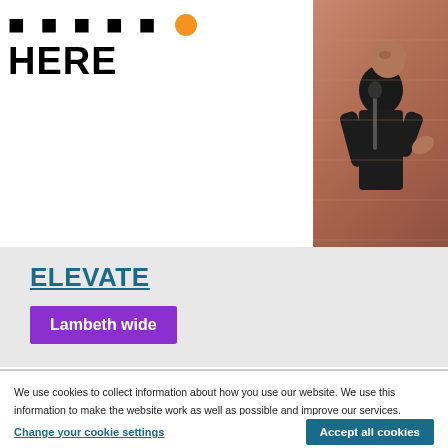HERE
[Figure (photo): Person singing or speaking into a microphone against a brick wall background]
ELEVATE
Lambeth wide
We use cookies to collect information about how you use our website. We use this information to make the website work as well as possible and improve our services. Read our cookie policy
Change your cookie settings
Accept all cookies